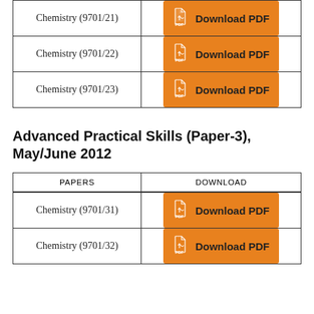| PAPERS | DOWNLOAD |
| --- | --- |
| Chemistry (9701/21) | Download PDF |
| Chemistry (9701/22) | Download PDF |
| Chemistry (9701/23) | Download PDF |
Advanced Practical Skills (Paper-3), May/June 2012
| PAPERS | DOWNLOAD |
| --- | --- |
| Chemistry (9701/31) | Download PDF |
| Chemistry (9701/32) | Download PDF |